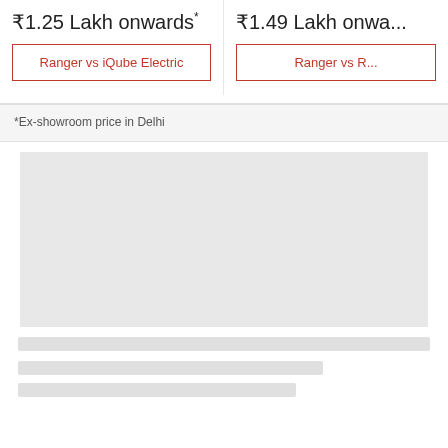₹1.25 Lakh onwards*
Ranger vs iQube Electric
₹1.49 Lakh onwards*
Ranger vs R...
*Ex-showroom price in Delhi
[Figure (other): Advertisement placeholder - large grey rectangle]
skeleton loading bars